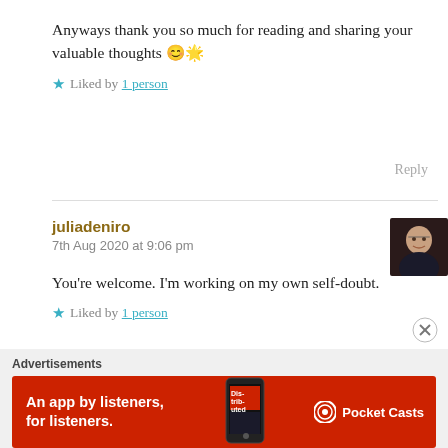Anyways thank you so much for reading and sharing your valuable thoughts 😊😇
★ Liked by 1 person
Reply
juliadeniro
7th Aug 2020 at 9:06 pm
[Figure (photo): Avatar photo of juliadeniro, a person wearing glasses]
You're welcome. I'm working on my own self-doubt.
★ Liked by 1 person
Advertisements
[Figure (infographic): Pocket Casts advertisement banner: red background with text 'An app by listeners, for listeners.' and Pocket Casts logo with a phone showing a podcast app]